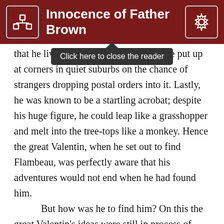Innocence of Father Brown
[Figure (screenshot): Tooltip popup saying 'Click here to close the reader' overlaid on the top of the reading area]
that he live [obscured by tooltip] which he put up at corners in quiet suburbs on the chance of strangers dropping postal orders into it. Lastly, he was known to be a startling acrobat; despite his huge figure, he could leap like a grasshopper and melt into the tree-tops like a monkey. Hence the great Valentin, when he set out to find Flambeau, was perfectly aware that his adventures would not end when he had found him.

But how was he to find him? On this the great Valentin's ideas were still in process of settlement.

There was one thing which Flambeau, with all his dexterity of disguise, could not cover, and that